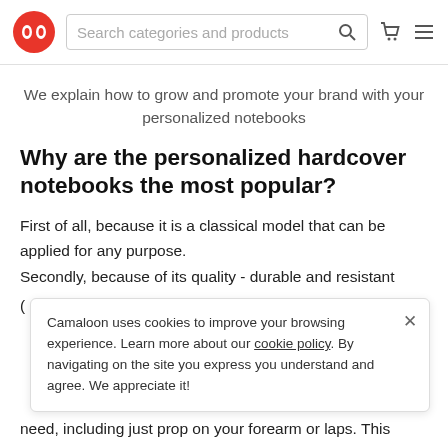Search categories and products
We explain how to grow and promote your brand with your personalized notebooks
Why are the personalized hardcover notebooks the most popular?
First of all, because it is a classical model that can be applied for any purpose.
Secondly, because of its quality - durable and resistant
Camaloon uses cookies to improve your browsing experience. Learn more about our cookie policy. By navigating on the site you express you understand and agree. We appreciate it!
need, including just prop on your forearm or laps. This